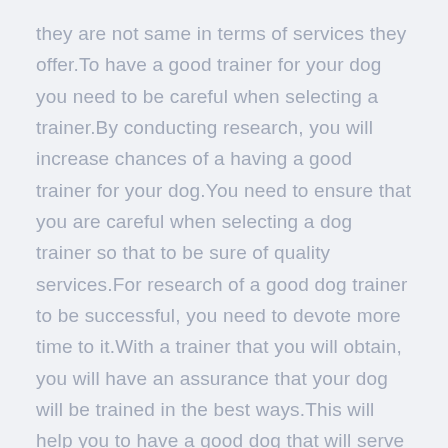they are not same in terms of services they offer.To have a good trainer for your dog you need to be careful when selecting a trainer.By conducting research, you will increase chances of a having a good trainer for your dog.You need to ensure that you are careful when selecting a dog trainer so that to be sure of quality services.For research of a good dog trainer to be successful, you need to devote more time to it.With a trainer that you will obtain, you will have an assurance that your dog will be trained in the best ways.This will help you to have a good dog that will serve you well.It may cost you highly to have a good dog trainer ,but you will have services that are quality.Below are benefits that you will get by dog training.
With dog training ,you will have your dog stimulated and exercised.Dogs are naturally known to be good in wild